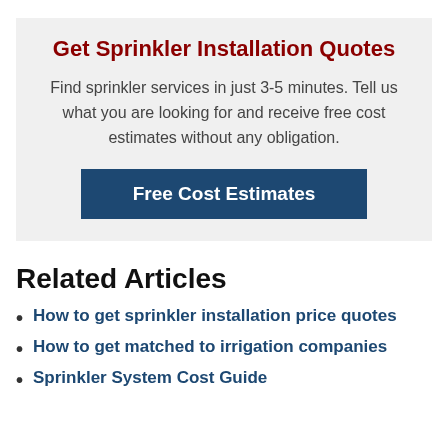Get Sprinkler Installation Quotes
Find sprinkler services in just 3-5 minutes. Tell us what you are looking for and receive free cost estimates without any obligation.
Free Cost Estimates
Related Articles
How to get sprinkler installation price quotes
How to get matched to irrigation companies
Sprinkler System Cost Guide